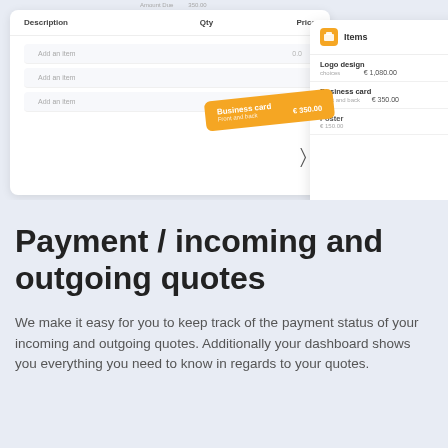[Figure (screenshot): Screenshot of an invoice/quote builder UI showing a left panel with Description, Qty, Price columns and 'Add an item' rows, an orange tooltip badge reading 'Business card / Front and back / €350.00', a cursor hand icon, and a right floating panel titled 'Items' with entries: Logo design (€1,080.00), Business card (€350.00), Poster]
Payment / incoming and outgoing quotes
We make it easy for you to keep track of the payment status of your incoming and outgoing quotes. Additionally your dashboard shows you everything you need to know in regards to your quotes.